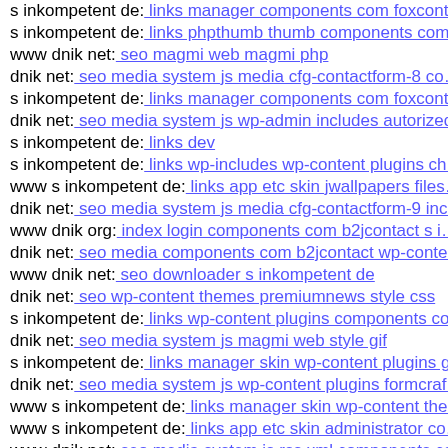s inkompetent de: links manager components com foxcont…
s inkompetent de: links phpthumb thumb components com…
www dnik net: seo magmi web magmi php
dnik net: seo media system js media cfg-contactform-8 co…
s inkompetent de: links manager components com foxcont…
dnik net: seo media system js wp-admin includes autorized…
s inkompetent de: links dev
s inkompetent de: links wp-includes wp-content plugins ch…
www s inkompetent de: links app etc skin jwallpapers files…
dnik net: seo media system js media cfg-contactform-9 inc…
www dnik org: index login components com b2jcontact s i…
dnik net: seo media components com b2jcontact wp-conten…
www dnik net: seo downloader s inkompetent de
dnik net: seo wp-content themes premiumnews style css
s inkompetent de: links wp-content plugins components co…
dnik net: seo media system js magmi web style gif
s inkompetent de: links manager skin wp-content plugins g…
dnik net: seo media system js wp-content plugins formcraf…
www s inkompetent de: links manager skin wp-content the…
www s inkompetent de: links app etc skin administrator co…
www dnik net: seo media system js rss xml components co…